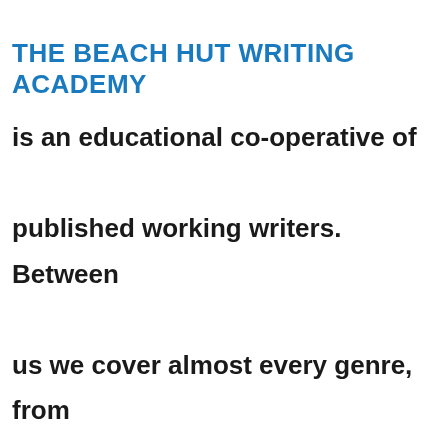THE BEACH HUT WRITING ACADEMY
is an educational co-operative of published working writers.  Between us we cover almost every genre, from young adult to crime and short stories to children's books, non-fiction and script writing.